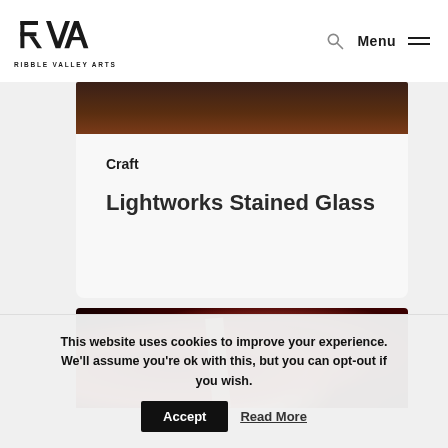Ribble Valley Arts — navigation header with logo, search, and menu
[Figure (photo): Partial dark brown/russet image crop at top of article card]
Craft
Lightworks Stained Glass
[Figure (photo): Close-up photograph of red and dark stained glass pieces]
This website uses cookies to improve your experience. We'll assume you're ok with this, but you can opt-out if you wish.
Accept   Read More